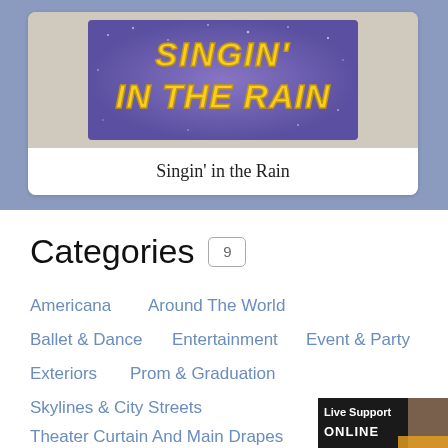[Figure (illustration): Singin' in the Rain movie logo on purple/blue starry background with yellow bubble text]
Singin' in the Rain
Categories 9
Americana
Around The World
Ballet & Dance
Entertainment
Event & Party
Exteriors
Prom & Graduation
Skylines & City Streets
Theater Curtain And Main Drapes
[Figure (photo): Live Support ONLINE banner with woman's face]